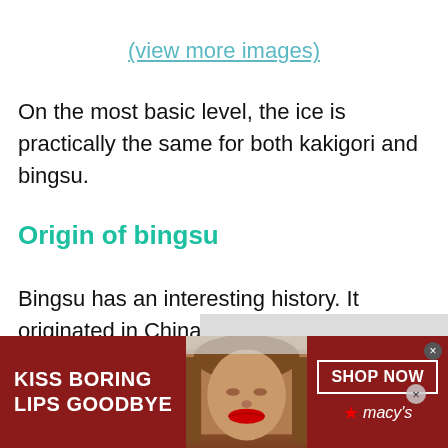(view more images)
On the most basic level, the ice is practically the same for both kakigori and bingsu.
Origin of bingsu
Bingsu has an interesting history. It originated in China as an evolution from eating frozen fruit. But it ultimately came from Japan.
[Figure (photo): Advertisement banner for Macy's lipstick with text 'KISS BORING LIPS GOODBYE' and 'SHOP NOW' button with Macy's star logo, showing a woman's face with red lips]